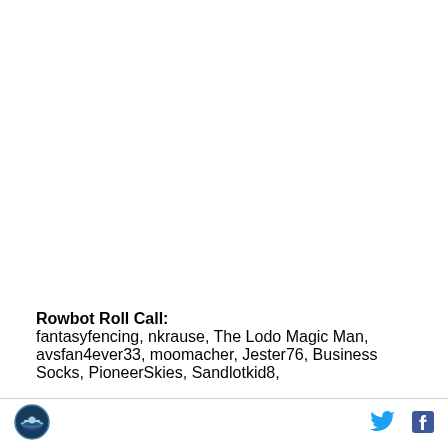Rowbot Roll Call:
fantasyfencing, nkrause, The Lodo Magic Man, avsfan4ever33, moomacher, Jester76, Business Socks, PioneerSkies, Sandlotkid8,
[Figure (logo): Circular logo with a rowing/boat sport illustration]
[Figure (logo): Twitter bird icon in cyan/blue]
[Figure (logo): Facebook 'f' icon in dark blue]